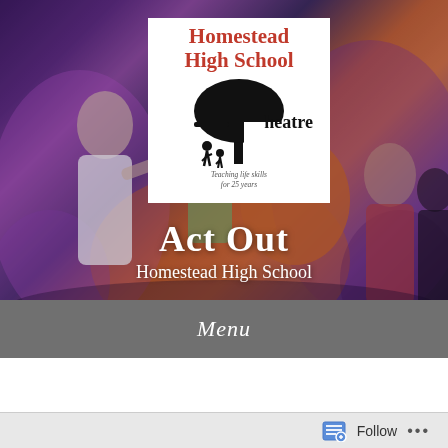[Figure (photo): Hero background photo of students performing on stage in colorful costumes with dramatic lighting; a white logo box overlaid in the center-top area showing Homestead High School Theatre logo with a tree silhouette and tagline 'Teaching life skills for 25 years']
Act Out
Homestead High School
Menu
THE LAFAYETTE PLAYERS (1915-1932)
Follow
...